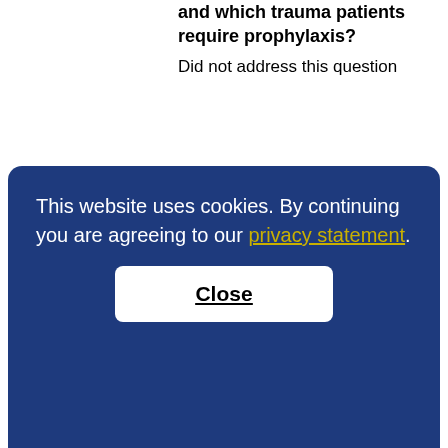and which trauma patients require prophylaxis? Did not address this question
Is there a preferred agent for stress ulcer prophylaxis? If so, what? Famotidine bolus followed by
1
This website uses cookies. By continuing you are agreeing to our privacy statement.
Close
in this population?